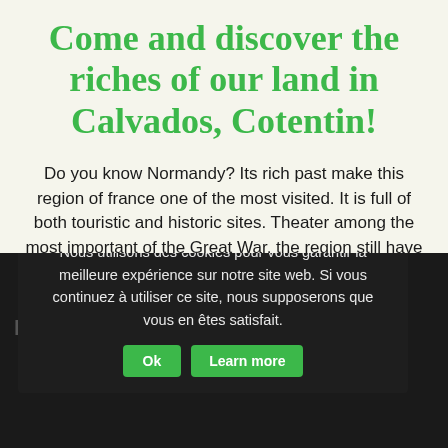Come and discover the riches of our land in Calvados, Cotentin!
Do you know Normandy? Its rich past make this region of france one of the most visited. It is full of both touristic and historic sites. Theater among the most important of the Great War, the region still have numerous heritage of the past. Furthermore, it has magnificient beaches, among the most beautiful of the country.
[Figure (screenshot): Cookie consent popup overlay on dark background with partially visible website content. Popup reads: 'Nous utilisons des cookies pour vous garantir la meilleure expérience sur notre site web. Si vous continuez à utiliser ce site, nous supposerons que vous en êtes satisfait.' with Ok and Learn more buttons.]